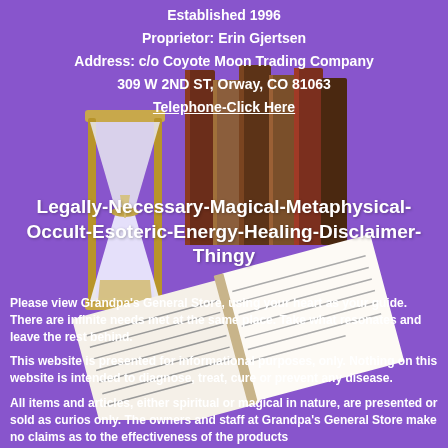Established 1996
Proprietor: Erin Gjertsen
Address: c/o Coyote Moon Trading Company
309 W 2ND ST, Orway, CO 81063
Telephone-Click Here
[Figure (illustration): Hourglass and stack of books with an open book in front, on purple background]
Legally-Necessary-Magical-Metaphysical-Occult-Esoteric-Energy-Healing-Disclaimer-Thingy
Please view Grandpa's General Store, using your heart as your guide. There are infinite needs met at the same place. Take what resonates and leave the rest behind.
This website is presented for informational purposes, only. Nothing on this website is intended to diagnose, treat, cure or prevent any disease.
All items and articles, either spiritual or magical in nature, are presented or sold as curios only. The owners and staff at Grandpa's General Store make no claims as to the effectiveness of the products